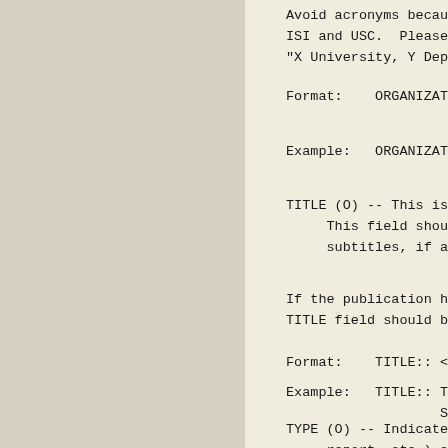Avoid acronyms because the ISI and USC.  Please provi "X University, Y Departmen
Format:    ORGANIZATION:: <
Example:   ORGANIZATION:: S
TITLE (O) -- This is the title of This field should include subtitles, if any.
If the publication has no TITLE field should be incl
Format:    TITLE:: <free-te
Example:   TITLE:: The Comp Spee
TYPE (O) -- Indicates the type of report, etc.) as assigned